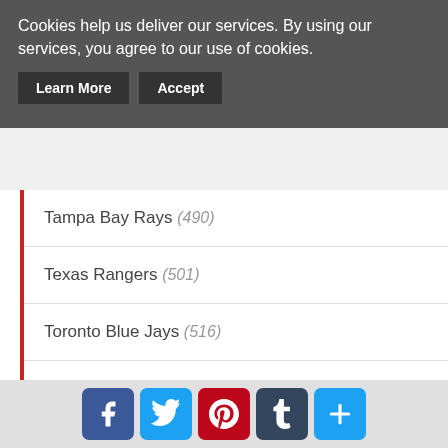Cookies help us deliver our services. By using our services, you agree to our use of cookies.
Learn More | Accept
Tampa Bay Rays (490)
Texas Rangers (501)
Toronto Blue Jays (516)
Washington Nationals (749)
All Products
Football
Arizona Cardinals (611)
Atlanta Falcons (694)
[Figure (infographic): Social media share icons: Facebook, Twitter, Pinterest, Tumblr, and a plus/share button]